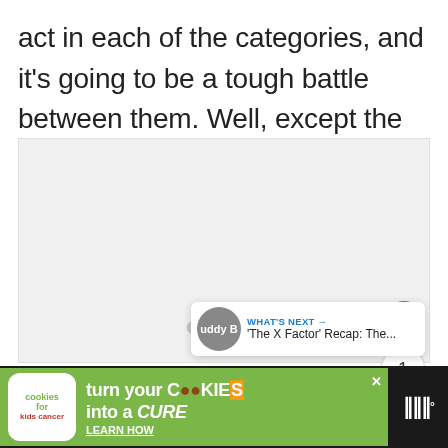act in each of the categories, and it’s going to be a tough battle between them. Well, except the Boys.
[Figure (screenshot): Embedded media/image placeholder with light gray background, like/share buttons on right side, three dots navigation at bottom center, and a 'What's Next' thumbnail showing 'The X Factor' Recap in bottom-right corner]
[Figure (screenshot): Advertisement banner: Cookies for Kids Cancer - 'turn your COOKIES into a CURE LEARN HOW' on green background with dark bar on right side]